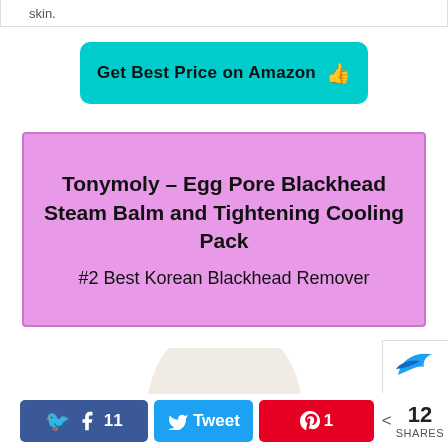skin.
Get Best Price on Amazon 👍
Tonymoly – Egg Pore Blackhead Steam Balm and Tightening Cooling Pack
#2 Best Korean Blackhead Remover
[Figure (photo): Top half of a white egg-shaped product container against a white background]
11  (Facebook share)  Tweet  1 (Pinterest)  < 12 SHARES